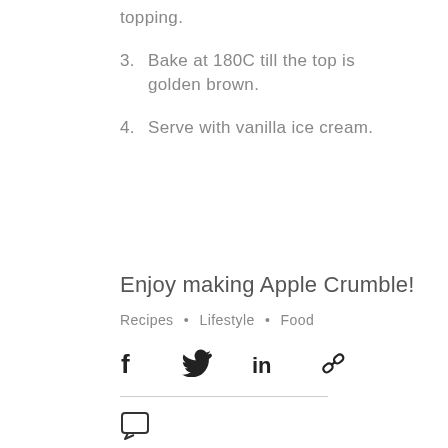topping.
3. Bake at 180C till the top is golden brown.
4. Serve with vanilla ice cream.
Enjoy making Apple Crumble!
Recipes • Lifestyle • Food
[Figure (other): Social share icons: Facebook, Twitter, LinkedIn, link/chain]
[Figure (other): Comment/chat bubble icon]